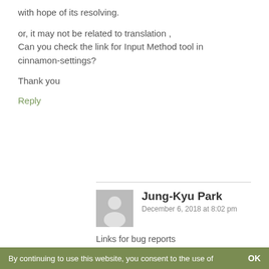with hope of its resolving.
or, it may not be related to translation ,
Can you check the link for Input Method tool in cinnamon-settings?
Thank you
Reply
Jung-Kyu Park
December 6, 2018 at 8:02 pm
Links for bug reports
https://github.com/linuxmint/mint-19.1-beta/issues/10
https://github.com/linuxmint/mint-
By continuing to use this website, you consent to the use of    OK